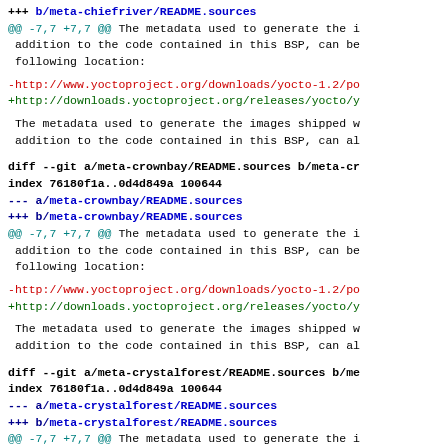+++ b/meta-chiefriver/README.sources
@@ -7,7 +7,7 @@ The metadata used to generate the i
 addition to the code contained in this BSP, can be
 following location:

-http://www.yoctoproject.org/downloads/yocto-1.2/po
+http://downloads.yoctoproject.org/releases/yocto/y

 The metadata used to generate the images shipped w
 addition to the code contained in this BSP, can al
diff --git a/meta-crownbay/README.sources b/meta-cr
index 76180f1a..0d4d849a 100644
--- a/meta-crownbay/README.sources
+++ b/meta-crownbay/README.sources
@@ -7,7 +7,7 @@ The metadata used to generate the i
 addition to the code contained in this BSP, can be
 following location:

-http://www.yoctoproject.org/downloads/yocto-1.2/po
+http://downloads.yoctoproject.org/releases/yocto/y

 The metadata used to generate the images shipped w
 addition to the code contained in this BSP, can al
diff --git a/meta-crystalforest/README.sources b/me
index 76180f1a..0d4d849a 100644
--- a/meta-crystalforest/README.sources
+++ b/meta-crystalforest/README.sources
@@ -7,7 +7,7 @@ The metadata used to generate the i